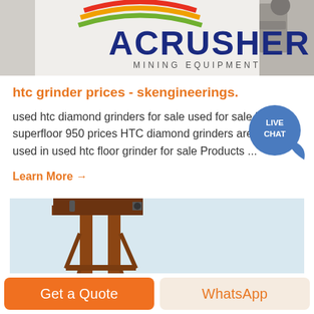[Figure (logo): ACRUSHER Mining Equipment banner logo with colorful arc stripes and industrial machinery in background]
htc grinder prices - skengineerings.
used htc diamond grinders for sale used for sale htc superfloor 950 prices HTC diamond grinders are often used in used htc floor grinder for sale Products ...
Learn More →
[Figure (photo): Industrial mining equipment structure, appears to be a conveyor or loading tower with metal framework against a light blue sky]
Get a Quote
WhatsApp